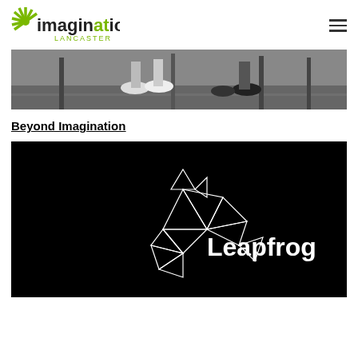Imagination Lancaster
[Figure (photo): Black and white photo of people's feet and legs, showing sneakers and dress shoes on a reflective floor with furniture legs visible]
Beyond Imagination
[Figure (logo): Leapfrog logo on black background - geometric origami-style frog shape in white outlines with the word Leapfrog in white text]